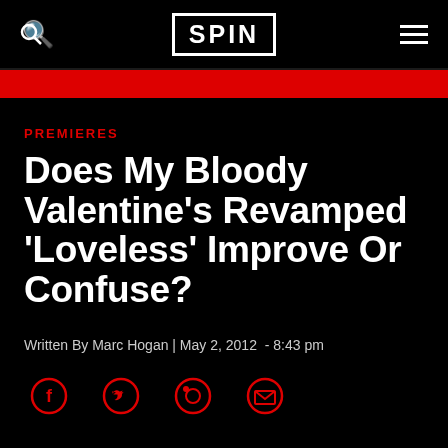SPIN
PREMIERES
Does My Bloody Valentine's Revamped 'Loveless' Improve Or Confuse?
Written By Marc Hogan | May 2, 2012  - 8:43 pm
[Figure (other): Social sharing icons: Facebook, Twitter, Reddit, Email]